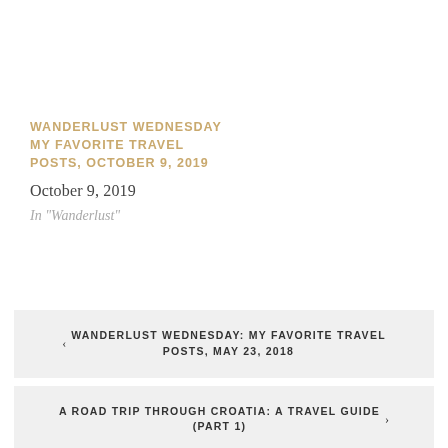WANDERLUST WEDNESDAY MY FAVORITE TRAVEL POSTS, OCTOBER 9, 2019
October 9, 2019
In "Wanderlust"
‹ WANDERLUST WEDNESDAY: MY FAVORITE TRAVEL POSTS, MAY 23, 2018
A ROAD TRIP THROUGH CROATIA: A TRAVEL GUIDE (PART 1) ›